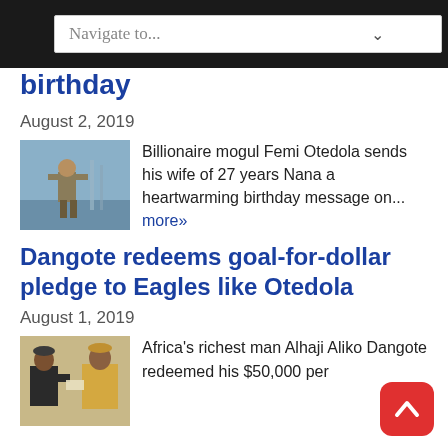Navigate to...
birthday
August 2, 2019
[Figure (photo): Person standing outdoors near water/boat, wearing military-style clothing]
Billionaire mogul Femi Otedola sends his wife of 27 years Nana a heartwarming birthday message on... more»
Dangote redeems goal-for-dollar pledge to Eagles like Otedola
August 1, 2019
[Figure (photo): Two men in traditional Nigerian attire, appearing to exchange something]
Africa's richest man Alhaji Aliko Dangote redeemed his $50,000 per